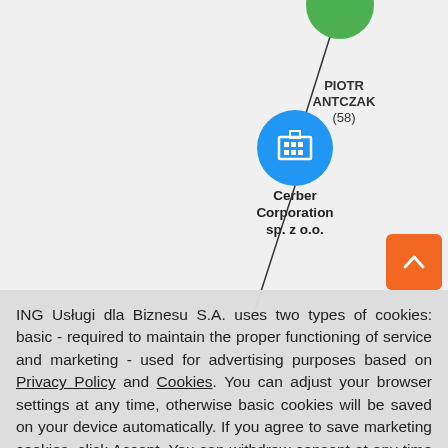[Figure (network-graph): Network graph showing a connection between a blue building/company node labeled 'Cerber Corporation sp. z o.o.' and a green person node labeled 'PIOTR ANTCZAK (58)', connected by a line. The company node is a blue circle with a white building icon, and the person node is a green circle partially visible at top.]
ING Usługi dla Biznesu S.A. uses two types of cookies: basic - required to maintain the proper functioning of service and marketing - used for advertising purposes based on Privacy Policy and Cookies. You can adjust your browser settings at any time, otherwise basic cookies will be saved on your device automatically. If you agree to save marketing cookies, click Accept. You can withdraw consent at any time in your browser settings.
Accept
Close